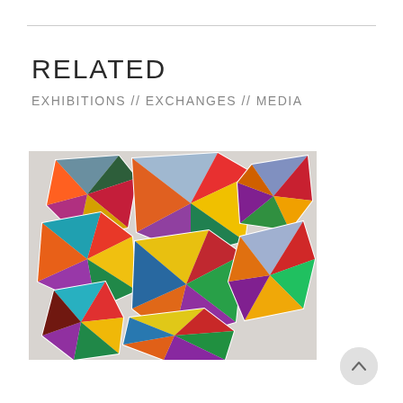RELATED
EXHIBITIONS // EXCHANGES // MEDIA
[Figure (photo): Colorful geometric abstract artwork consisting of multiple hexagonal and polygonal panels covered in vibrant triangular color patterns arranged in a cluster on a light wall]
[Figure (other): Back to top button — circular grey button with an upward-pointing chevron]